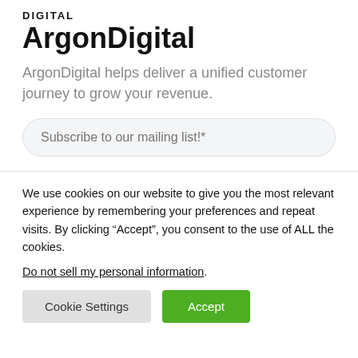DIGITAL
ArgonDigital
ArgonDigital helps deliver a unified customer journey to grow your revenue.
Subscribe to our mailing list!*
We use cookies on our website to give you the most relevant experience by remembering your preferences and repeat visits. By clicking “Accept”, you consent to the use of ALL the cookies.
Do not sell my personal information.
Cookie Settings
Accept